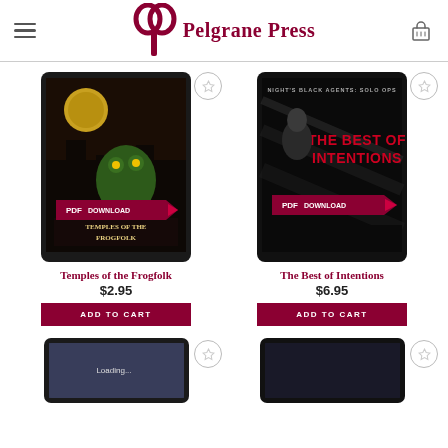Pelgrane Press
[Figure (screenshot): Product listing for 'Temples of the Frogfolk' PDF download — tablet mockup with dark fantasy cover art, PDF Download badge, red arrow]
Temples of the Frogfolk
$2.95
ADD TO CART
[Figure (screenshot): Product listing for 'The Best of Intentions' PDF download — tablet mockup with Night's Black Agents: Solo Ops cover art, PDF Download badge, red arrow]
The Best of Intentions
$6.95
ADD TO CART
[Figure (screenshot): Partial product listing at bottom left — tablet mockup partially visible]
[Figure (screenshot): Partial product listing at bottom right — tablet mockup partially visible]